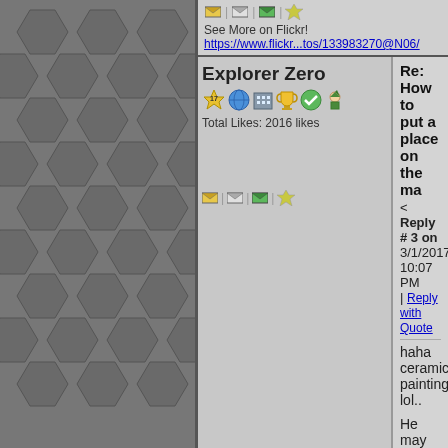[Figure (screenshot): Forum website screenshot with hexagonal sidebar, user posts by Explorer Zero and RescueMe1060]
See More on Flickr!
https://www.flickr...tos/133983270@N06/
Re: How to put a place on the ma
< Reply # 3 on 3/1/2017 10:07 PM | Reply with Quote
Explorer Zero
Total Likes: 2016 likes
haha ceramic painting lol..
He may be talking about the DB ma anything to it unless he adds a DB b
Im going to hold off on speculating
RescueMe1060
Re: How to put a place on the ma
< Reply # 4 on 3/1/2017 10:24 PM | Reply with Quote
Location: San Francisco
Gender: Male
Total Likes: 1566 likes
everyone always says no one uses th come up about the DB and more th